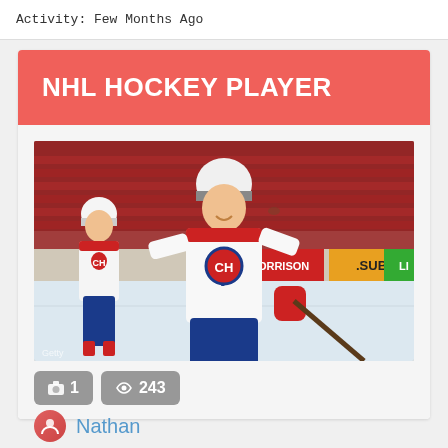Activity: Few Months Ago
NHL HOCKEY PLAYER
[Figure (photo): Montreal Canadiens NHL hockey player in white jersey celebrating on ice, with teammates and crowd in background. Rink-side advertising boards visible.]
1   243
Nathan